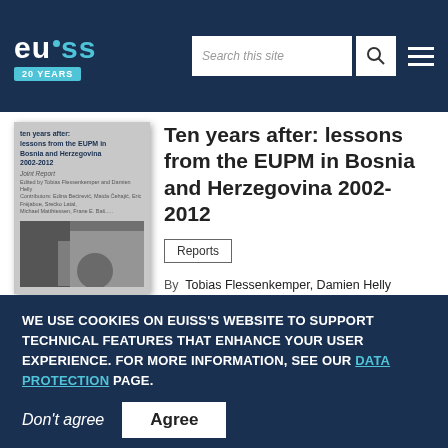[Figure (logo): EUISS logo with '20 YEARS' badge in teal, white text on dark navy background]
[Figure (photo): Book cover thumbnail: 'Ten years after: lessons from the EUPM in Bosnia and Herzegovina 2002-2012, Joint Report']
Ten years after: lessons from the EUPM in Bosnia and Herzegovina 2002-2012
Reports
By Tobias Flessenkemper, Damien Helly
With contributions from Edina Bećirević, Maida Ćehajić, Eric Fréjabue, Srećko Latal, Michael Matthiessen, Frane E. Baš...
WE USE COOKIES ON EUISS'S WEBSITE TO SUPPORT TECHNICAL FEATURES THAT ENHANCE YOUR USER EXPERIENCE. FOR MORE INFORMATION, SEE OUR DATA PROTECTION PAGE.
Don't agree
Agree